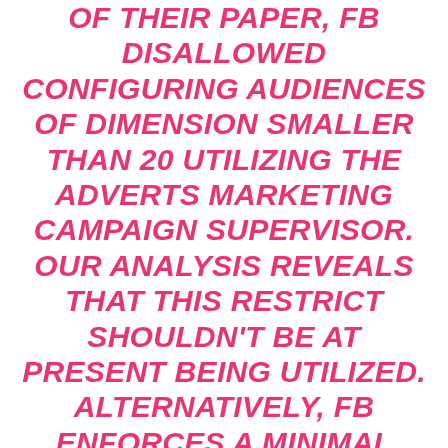OF THEIR PAPER, FB DISALLOWED CONFIGURING AUDIENCES OF DIMENSION SMALLER THAN 20 UTILIZING THE ADVERTS MARKETING CAMPAIGN SUPERVISOR. OUR ANALYSIS REVEALS THAT THIS RESTRICT SHOULDN'T BE AT PRESENT BEING UTILIZED. ALTERNATIVELY, FB ENFORCES A MINIMAL CUSTOMIZED VIEWERS DIMENSION OF 100 CUSTOMERS. AS INTRODUCED IN PART 7.2.2, A NUMBER OF WORKS WITHIN THE LITERATURE CONFIRMED OTHER WAYS TO BEAT THIS RESTRICT AND IMPLEMENT NANOTARGETING